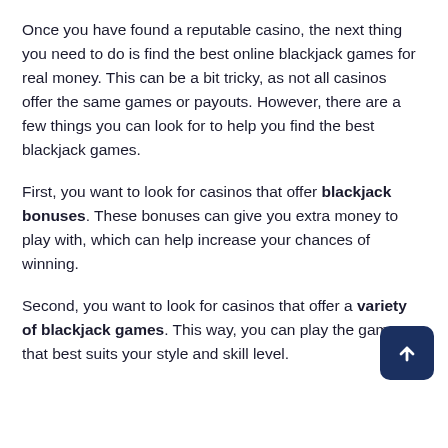Once you have found a reputable casino, the next thing you need to do is find the best online blackjack games for real money. This can be a bit tricky, as not all casinos offer the same games or payouts. However, there are a few things you can look for to help you find the best blackjack games.
First, you want to look for casinos that offer blackjack bonuses. These bonuses can give you extra money to play with, which can help increase your chances of winning.
Second, you want to look for casinos that offer a variety of blackjack games. This way, you can play the game that best suits your style and skill level.